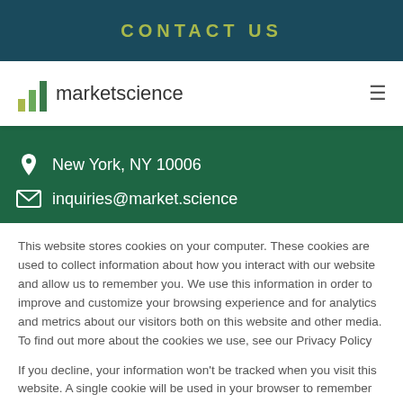CONTACT US
[Figure (logo): marketscience logo with bar chart icon and hamburger menu]
New York, NY 10006
inquiries@market.science
This website stores cookies on your computer. These cookies are used to collect information about how you interact with our website and allow us to remember you. We use this information in order to improve and customize your browsing experience and for analytics and metrics about our visitors both on this website and other media. To find out more about the cookies we use, see our Privacy Policy
If you decline, your information won't be tracked when you visit this website. A single cookie will be used in your browser to remember your preference not to be tracked.
Cookies settings   Accept All   Decline All